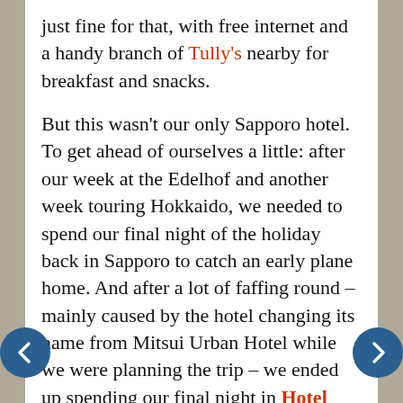just fine for that, with free internet and a handy branch of Tully's nearby for breakfast and snacks.

But this wasn't our only Sapporo hotel. To get ahead of ourselves a little: after our week at the Edelhof and another week touring Hokkaido, we needed to spend our final night of the holiday back in Sapporo to catch an early plane home. And after a lot of faffing round – mainly caused by the hotel changing its name from Mitsui Urban Hotel while we were planning the trip – we ended up spending our final night in Hotel Coms, which is actually inside the New Chitose Airport building. It's perfectly placed for the airport, of course, though you should note that the terminal doesn't open until 6.20am and plan